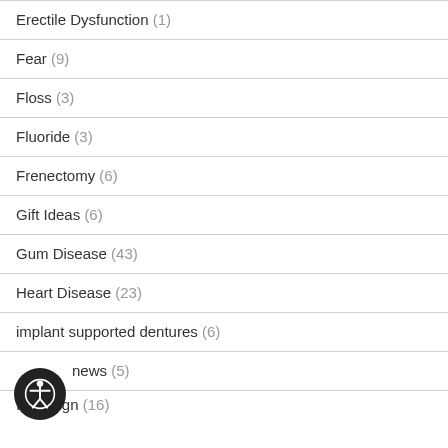Erectile Dysfunction (1)
Fear (9)
Floss (3)
Fluoride (3)
Frenectomy (6)
Gift Ideas (6)
Gum Disease (43)
Heart Disease (23)
implant supported dentures (6)
In the news (5)
Invisalign (16)